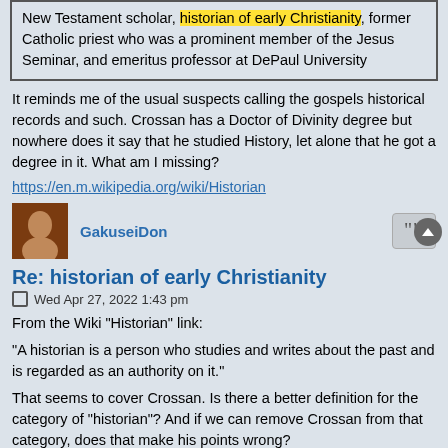New Testament scholar, historian of early Christianity, former Catholic priest who was a prominent member of the Jesus Seminar, and emeritus professor at DePaul University
It reminds me of the usual suspects calling the gospels historical records and such. Crossan has a Doctor of Divinity degree but nowhere does it say that he studied History, let alone that he got a degree in it. What am I missing?
https://en.m.wikipedia.org/wiki/Historian
GakuseiDon
Re: historian of early Christianity
Wed Apr 27, 2022 1:43 pm
From the Wiki "Historian" link:
"A historian is a person who studies and writes about the past and is regarded as an authority on it."
That seems to cover Crossan. Is there a better definition for the category of "historian"? And if we can remove Crossan from that category, does that make his points wrong?